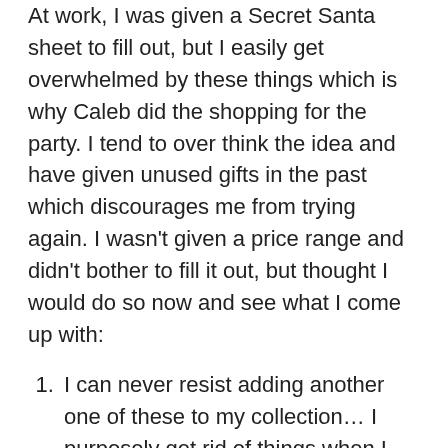At work, I was given a Secret Santa sheet to fill out, but I easily get overwhelmed by these things which is why Caleb did the shopping for the party. I tend to over think the idea and have given unused gifts in the past which discourages me from trying again. I wasn't given a price range and didn't bother to fill it out, but thought I would do so now and see what I come up with:
I can never resist adding another one of these to my collection… I purposely get rid of things when I notice a theme starting to grow. I fear hoarding and people setting me in any one category as I like my home to be eclectic.
My favorite thing to sip on is… Hot — tea and mead; Cold — orange juice, cold brew or mushroom coffee, kombucha, and room temp water.
I love this, but I never buy it for myself… expensive